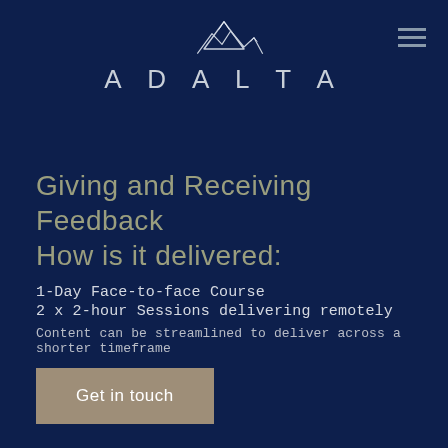[Figure (logo): Adalta logo with mountain peaks illustration above the text ADALTA in spaced capital letters]
Giving and Receiving Feedback
How is it delivered:
1-Day Face-to-face Course
2 x 2-hour Sessions delivering remotely
Content can be streamlined to deliver across a shorter timeframe
Get in touch